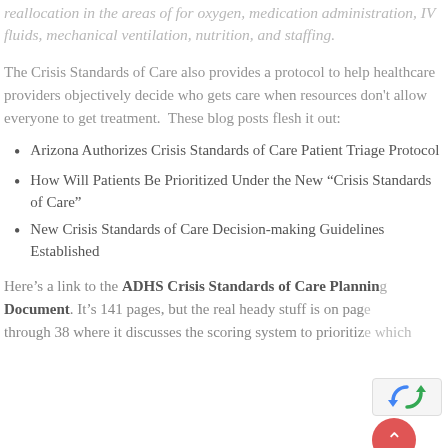reallocation in the areas of for oxygen, medication administration, IV fluids, mechanical ventilation, nutrition, and staffing.
The Crisis Standards of Care also provides a protocol to help healthcare providers objectively decide who gets care when resources don't allow everyone to get treatment. These blog posts flesh it out:
Arizona Authorizes Crisis Standards of Care Patient Triage Protocol
How Will Patients Be Prioritized Under the New “Crisis Standards of Care”
New Crisis Standards of Care Decision-making Guidelines Established
Here’s a link to the ADHS Crisis Standards of Care Planning Document. It’s 141 pages, but the real heady stuff is on page through 38 where it discusses the scoring system to prioritize which